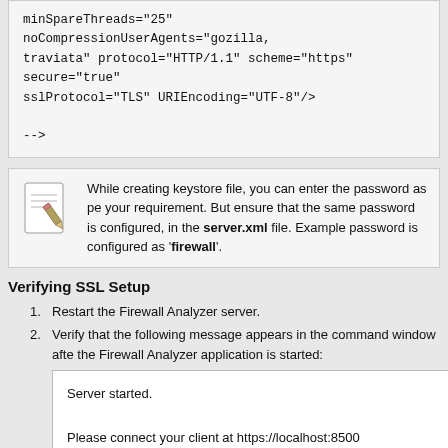minSpareThreads="25" noCompressionUserAgents="gozilla, traviata" protocol="HTTP/1.1" scheme="https" secure="true" sslProtocol="TLS" URIEncoding="UTF-8"/>

-->
While creating keystore file, you can enter the password as per your requirement. But ensure that the same password is configured, in the server.xml file. Example password is configured as 'firewall'.
Verifying SSL Setup
Restart the Firewall Analyzer server.
Verify that the following message appears in the command window after the Firewall Analyzer application is started:
Server started.

Please connect your client at https://localhost:8500
Connect to the server from a web browser by typing